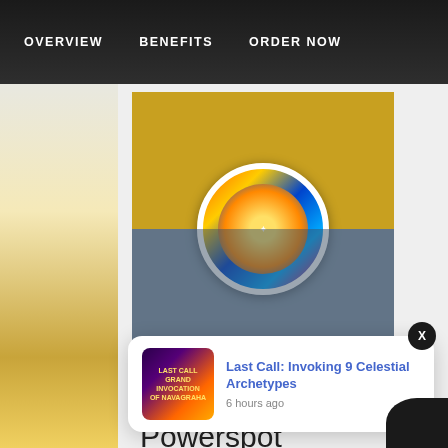OVERVIEW   BENEFITS   ORDER NOW
[Figure (photo): Composite image showing Hindu religious ceremony with deity figure (colorful idol of Murugan/Vishnu with ornaments) in center circle, surrounded by photos of hands with offerings above and people receiving food/prasad below]
Abishekam and Archana (Pooja and
Powerspot
[Figure (infographic): Notification popup card: thumbnail image of Grand Invocation of Navagraha event on left, with title 'Last Call: Invoking 9 Celestial Archetypes' in blue and timestamp '6 hours ago' on right. Close button (X) in dark circle at top right of popup.]